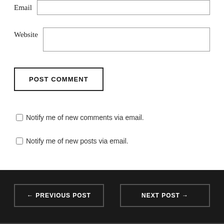Email
Website
POST COMMENT
Notify me of new comments via email.
Notify me of new posts via email.
← PREVIOUS POST   NEXT POST →